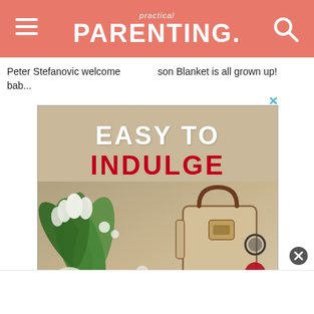practical PARENTING.
Peter Stefanovic welcome bab...
son Blanket is all grown up!
[Figure (screenshot): Advertisement banner with text 'EASY TO INDULGE' and product image showing a handbag, flowers, and lifestyle items on a beige background.]